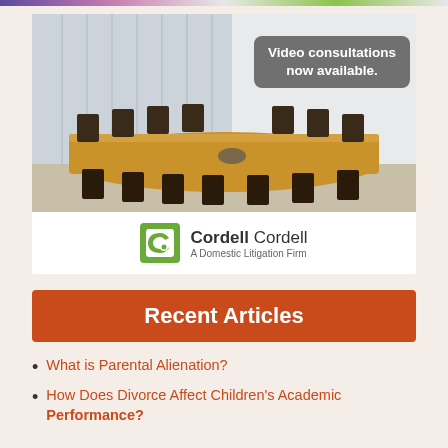[Figure (advertisement): Conference room advertisement for Cordell Cordell law firm with text overlay 'Video consultations now available.' and firm logo at bottom]
Recent Articles
What is Parental Alienation?
How Does Divorce Affect Children's Academic Performance?